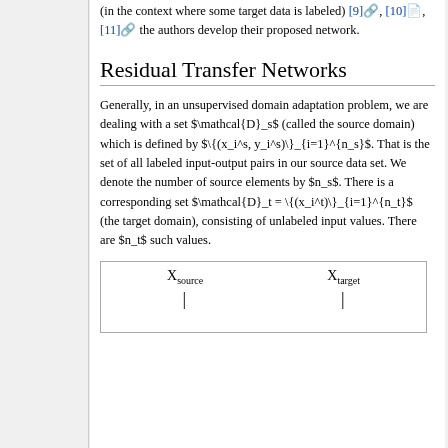(in the context where some target data is labeled) [9], [10], [11] the authors develop their proposed network.
Residual Transfer Networks
Generally, in an unsupervised domain adaptation problem, we are dealing with a set $\mathcal{D}_s$ (called the source domain) which is defined by $\{(x_i^s, y_i^s)\}_{i=1}^{n_s}$. That is the set of all labeled input-output pairs in our source data set. We denote the number of source elements by $n_s$. There is a corresponding set $\mathcal{D}_t = \{(x_i^t)\}_{i=1}^{n_t}$ (the target domain), consisting of unlabeled input values. There are $n_t$ such values.
[Figure (schematic): Diagram showing X_source and X_target with downward arrows]